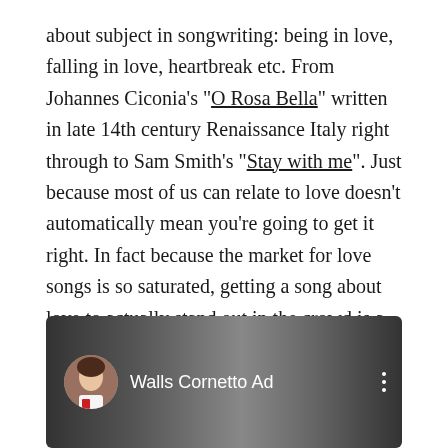about subject in songwriting: being in love, falling in love, heartbreak etc. From Johannes Ciconia's "O Rosa Bella" written in late 14th century Renaissance Italy right through to Sam Smith's "Stay with me". Just because most of us can relate to love doesn't automatically mean you're going to get it right. In fact because the market for love songs is so saturated, getting a song about love to actually stand out in the crowd is a lot harder than getting people to show an interest in your song about ice cream.
[Figure (screenshot): Video thumbnail showing a YouTube-style video player preview with a circular avatar of a person and the title 'Walls Cornetto Ad' with a three-dot menu icon on a dark background.]